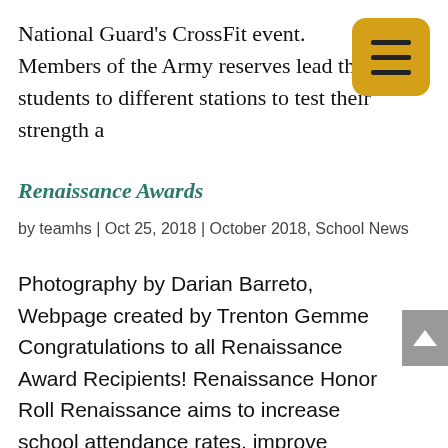National Guard's CrossFit event. Members of the Army reserves lead the students to different stations to test their strength a
Renaissance Awards
by teamhs | Oct 25, 2018 | October 2018, School News
Photography by Darian Barreto, Webpage created by Trenton Gemme Congratulations to all Renaissance Award Recipients! Renaissance Honor Roll Renaissance aims to increase school attendance rates, improve overall academic performance, increase graduation rates, and...